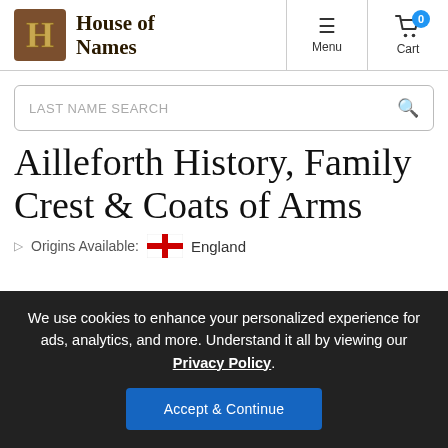House of Names — Menu | Cart
LAST NAME SEARCH
Ailleforth History, Family Crest & Coats of Arms
Origins Available: England
We use cookies to enhance your personalized experience for ads, analytics, and more. Understand it all by viewing our Privacy Policy. Accept & Continue